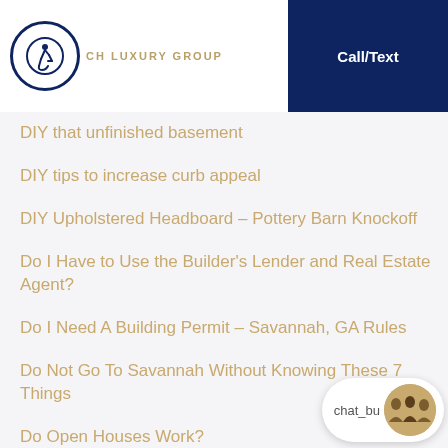CH LUXURY GROUP | Call/Text
DIY that unfinished basement
DIY tips to increase curb appeal
DIY Upholstered Headboard – Pottery Barn Knockoff
Do I Have to Use the Builder's Lender and Real Estate Agent?
Do I Need A Building Permit – Savannah, GA Rules
Do Not Go To Savannah Without Knowing These 7 Things
Do Open Houses Work?
Do these 5 things as soon as you move